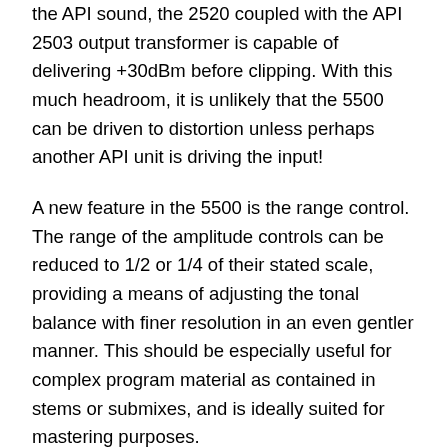the API sound, the 2520 coupled with the API 2503 output transformer is capable of delivering +30dBm before clipping. With this much headroom, it is unlikely that the 5500 can be driven to distortion unless perhaps another API unit is driving the input!
A new feature in the 5500 is the range control. The range of the amplitude controls can be reduced to 1/2 or 1/4 of their stated scale, providing a means of adjusting the tonal balance with finer resolution in an even gentler manner. This should be especially useful for complex program material as contained in stems or submixes, and is ideally suited for mastering purposes.
Also new on the 5500 is a true hard-wire bypass. In this mode the output connector is wired directly to the input. Shortly after the power is first applied, or immediately after